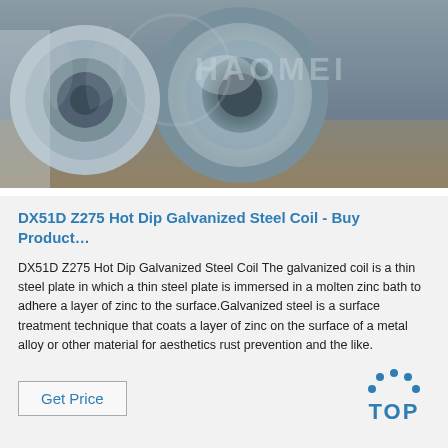[Figure (photo): A large roll/coil of galvanized steel with a watermark overlay reading 'HAOMEI' in the background. The coil is silvery-metallic in color, shown in a warehouse setting.]
DX51D Z275 Hot Dip Galvanized Steel Coil - Buy Product…
DX51D Z275 Hot Dip Galvanized Steel Coil The galvanized coil is a thin steel plate in which a thin steel plate is immersed in a molten zinc bath to adhere a layer of zinc to the surface.Galvanized steel is a surface treatment technique that coats a layer of zinc on the surface of a metal alloy or other material for aesthetics rust prevention and the like.
Get Price